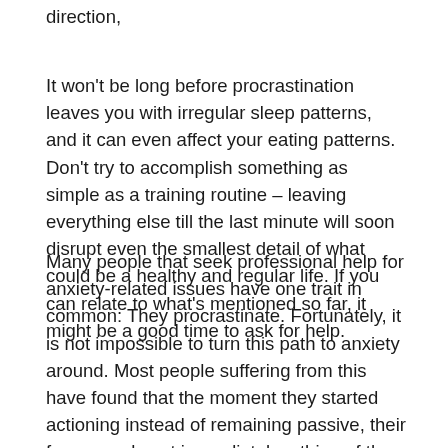direction,
It won't be long before procrastination leaves you with irregular sleep patterns, and it can even affect your eating patterns. Don't try to accomplish something as simple as a training routine – leaving everything else till the last minute will soon disrupt even the smallest detail of what could be a healthy and regular life. If you can relate to what's mentioned so far, it might be a good time to ask for help.
Many people that seek professional help for anxiety-related issues have one trait in common: They procrastinate. Fortunately, it is not impossible to turn this path to anxiety around. Most people suffering from this have found that the moment they started actioning instead of remaining passive, their fear was almost immediately a thing of the past. It will positively affect every other area of your life as you